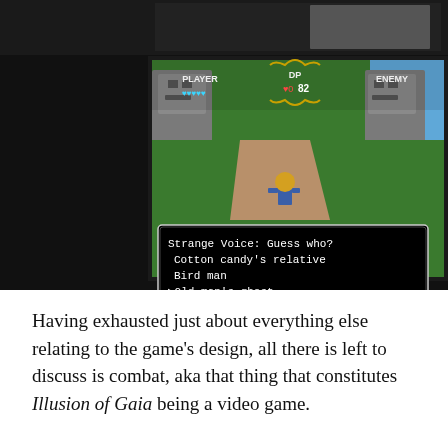[Figure (screenshot): SNES game screenshot from Illusion of Gaia showing a battle scene. A character stands on a dirt path surrounded by green terrain and stone statues. HUD shows PLAYER with 5 hearts, DP 0, 82 points, and ENEMY label. A dialog box reads: 'Strange Voice: Guess who? Cotton candy's relative Bird man ▶Old man's ghost...']
Having exhausted just about everything else relating to the game's design, all there is left to discuss is combat, aka that thing that constitutes Illusion of Gaia being a video game.